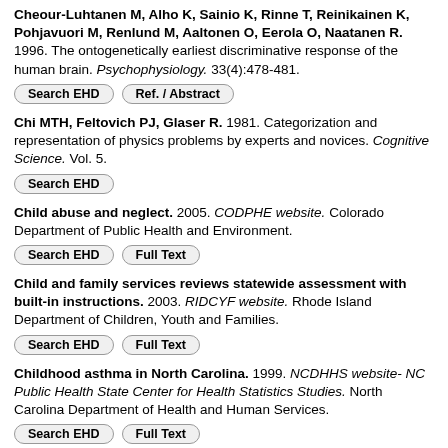Cheour-Luhtanen M, Alho K, Sainio K, Rinne T, Reinikainen K, Pohjavuori M, Renlund M, Aaltonen O, Eerola O, Naatanen R. 1996. The ontogenetically earliest discriminative response of the human brain. Psychophysiology. 33(4):478-481.
Chi MTH, Feltovich PJ, Glaser R. 1981. Categorization and representation of physics problems by experts and novices. Cognitive Science. Vol. 5.
Child abuse and neglect. 2005. CODPHE website. Colorado Department of Public Health and Environment.
Child and family services reviews statewide assessment with built-in instructions. 2003. RIDCYF website. Rhode Island Department of Children, Youth and Families.
Childhood asthma in North Carolina. 1999. NCDHHS website- NC Public Health State Center for Health Statistics Studies. North Carolina Department of Health and Human Services.